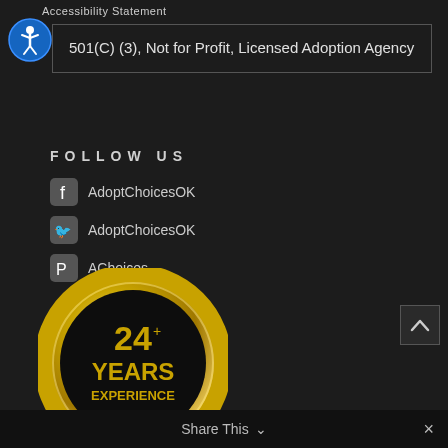Accessibility Statement
501(C) (3), Not for Profit, Licensed Adoption Agency
FOLLOW US
AdoptChoicesOK (Facebook)
AdoptChoicesOK (Twitter)
AChoices (Pinterest)
[Figure (logo): Gold circular badge reading '24+ YEARS EXPERIENCE' with Adoption Surrogacy Choices of America logo inside]
Share This ∨  ✕